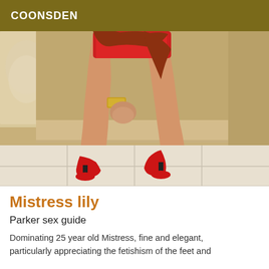COONSDEN
[Figure (photo): Woman seated on edge of bed wearing red high heels and short red outfit, with gold bracelet, legs visible, tile floor below]
Mistress lily
Parker sex guide
Dominating 25 year old Mistress, fine and elegant, particularly appreciating the fetishism of the feet and